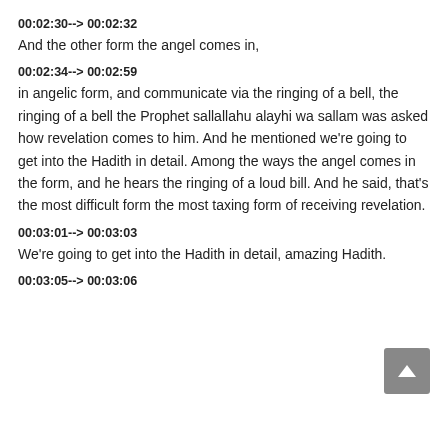00:02:30--> 00:02:32
And the other form the angel comes in,
00:02:34--> 00:02:59
in angelic form, and communicate via the ringing of a bell, the ringing of a bell the Prophet sallallahu alayhi wa sallam was asked how revelation comes to him. And he mentioned we're going to get into the Hadith in detail. Among the ways the angel comes in the form, and he hears the ringing of a loud bill. And he said, that's the most difficult form the most taxing form of receiving revelation.
00:03:01--> 00:03:03
We're going to get into the Hadith in detail, amazing Hadith.
00:03:05--> 00:03:06